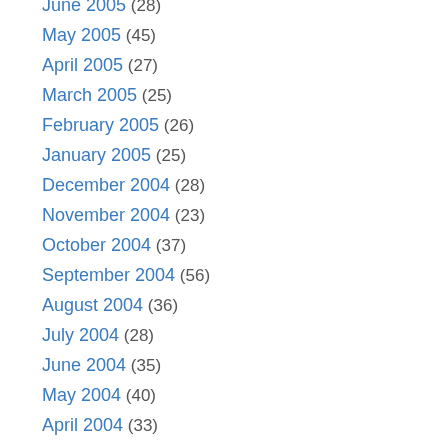June 2005 (28)
May 2005 (45)
April 2005 (27)
March 2005 (25)
February 2005 (26)
January 2005 (25)
December 2004 (28)
November 2004 (23)
October 2004 (37)
September 2004 (56)
August 2004 (36)
July 2004 (28)
June 2004 (35)
May 2004 (40)
April 2004 (33)